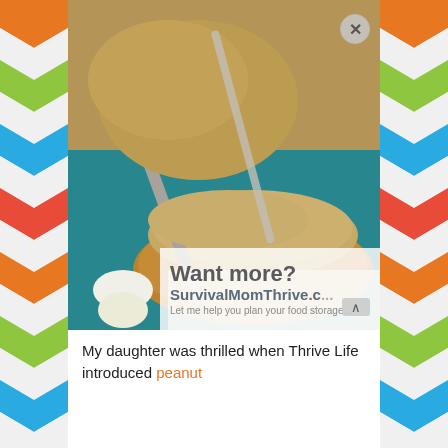[Figure (photo): Close-up photo of peanut butter being spread on a slice of bread with a knife, with more bread/rolls visible in the background on a teal/blue surface]
Want more? SurvivalMomThrive.c... Let me help you plan your food storage...
My daughter was thrilled when Thrive Life introduced peanut